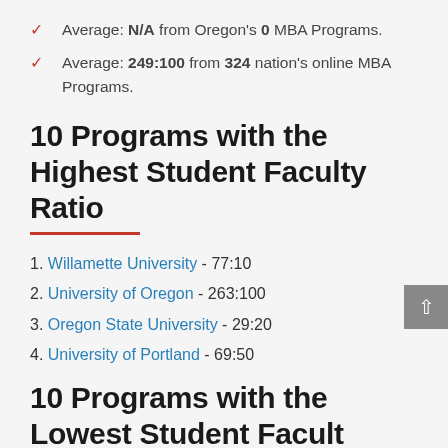Average: N/A from Oregon's 0 MBA Programs.
Average: 249:100 from 324 nation's online MBA Programs.
10 Programs with the Highest Student Faculty Ratio
1. Willamette University - 77:10
2. University of Oregon - 263:100
3. Oregon State University - 29:20
4. University of Portland - 69:50
10 Programs with the Lowest Student Faculty